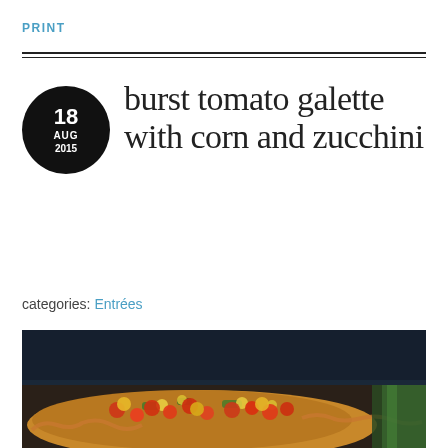PRINT
burst tomato galette with corn and zucchini
categories: Entrées
[Figure (photo): Dark background food photo showing a rustic galette topped with burst cherry tomatoes (red and yellow), corn, and zucchini on a pastry crust]